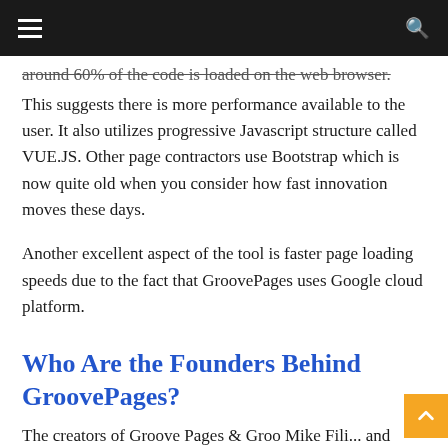around 60% of the code is loaded on the web browser. This suggests there is more performance available to the user. It also utilizes progressive Javascript structure called VUE.JS. Other page contractors use Bootstrap which is now quite old when you consider how fast innovation moves these days.
Another excellent aspect of the tool is faster page loading speeds due to the fact that GroovePages uses Google cloud platform.
Who Are the Founders Behind GroovePages?
The creators of Groove Pages & Groove Mike Fili... and...